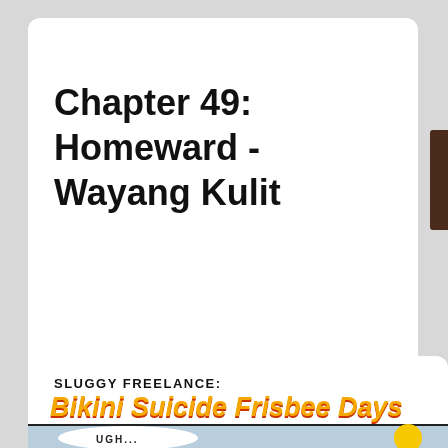Chapter 49: Homeward - Wayang Kulit
[Figure (illustration): Comic strip section showing 'SLUGGY FREELANCE: Bikini Suicide Frisbee Days' title logo with beginning of comic strip panel below showing 'UGH' text]
SLUGGY FREELANCE: Bikini Suicide Frisbee Days